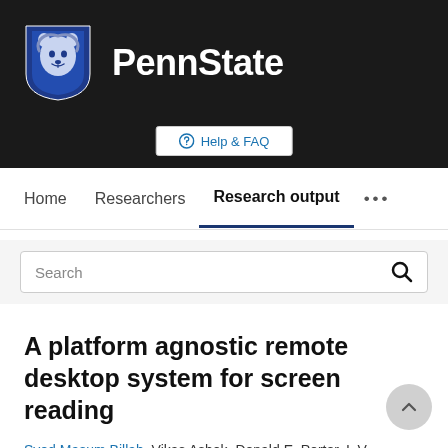[Figure (logo): Penn State University logo: blue shield with lion mascot on dark background, with 'PennState' text in white bold font]
Help & FAQ
Home   Researchers   Research output   •••
Search
A platform agnostic remote desktop system for screen reading
Syed Masum Billah, Vikas Ashok, Donald E. Porter, I. V. Ramakrishnan